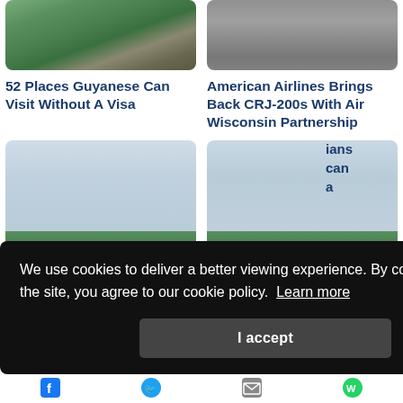[Figure (photo): Partially visible waterfall and green foliage at top left]
[Figure (photo): Partially visible gray asphalt road at top right]
52 Places Guyanese Can Visit Without A Visa
American Airlines Brings Back CRJ-200s With Air Wisconsin Partnership
[Figure (photo): Colorful green and yellow boat bow in foreground with tropical island and cloudy sky in background - left]
[Figure (photo): Colorful green and yellow boat bow in foreground with tropical island and cloudy sky in background - right]
We use cookies to deliver a better viewing experience. By continuing to use the site, you agree to our cookie policy. Learn more
I accept